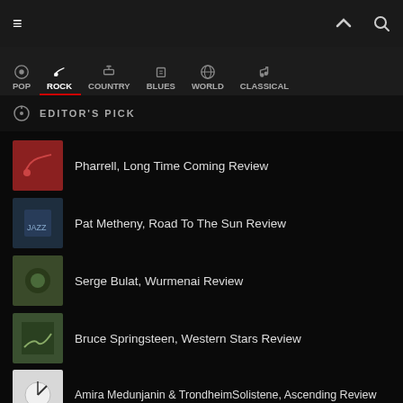[Figure (screenshot): Music app interface showing genre navigation bar with POP, ROCK (active), COUNTRY, BLUES, WORLD, CLASSICAL tabs and a list of album reviews under Editor's Pick and Must Have sections]
EDITOR'S PICK
Pharrell, Long Time Coming Review
Pat Metheny, Road To The Sun Review
Serge Bulat, Wurmenai Review
Bruce Springsteen, Western Stars Review
Amira Medunjanin & TrondheimSolistene, Ascending Review
Hilary Hahn plays Bach Review
MUST HAVE!
Josh Turner, Country State of Mind Review